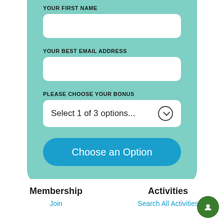YOUR FIRST NAME
[Figure (screenshot): White input field for first name]
YOUR BEST EMAIL ADDRESS
[Figure (screenshot): White input field for email address]
PLEASE CHOOSE YOUR BONUS
[Figure (screenshot): Dropdown selector showing 'Select 1 of 3 options...' with chevron circle icon]
[Figure (screenshot): Blue rounded button labeled 'Choose an Option']
Membership
Join
Activities
Search All Activities